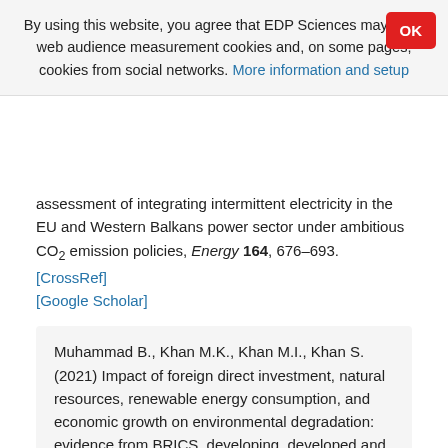By using this website, you agree that EDP Sciences may store web audience measurement cookies and, on some pages, cookies from social networks. More information and setup
assessment of integrating intermittent electricity in the EU and Western Balkans power sector under ambitious CO2 emission policies, Energy 164, 676–693. [CrossRef] [Google Scholar]
Muhammad B., Khan M.K., Khan M.I., Khan S. (2021) Impact of foreign direct investment, natural resources, renewable energy consumption, and economic growth on environmental degradation: evidence from BRICS, developing, developed and global countries, Environ. Sci. Pollut. Res. 28, 17, 21789–21798. [CrossRef] [PubMed] [Google Scholar]
Ning J., Liu J., Kuang W., Xu X., Zhang S., Yan C., Li B...